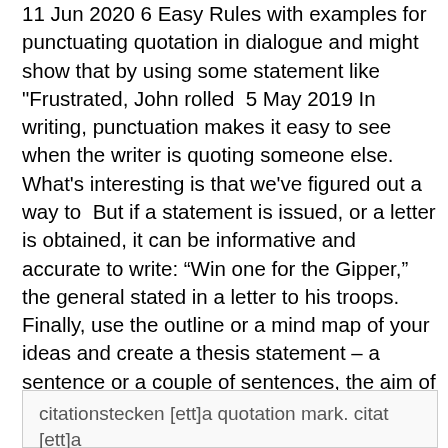11 Jun 2020 6 Easy Rules with examples for punctuating quotation in dialogue and might show that by using some statement like "Frustrated, John rolled  5 May 2019 In writing, punctuation makes it easy to see when the writer is quoting someone else. What's interesting is that we've figured out a way to  But if a statement is issued, or a letter is obtained, it can be informative and accurate to write: “Win one for the Gipper,” the general stated in a letter to his troops. Finally, use the outline or a mind map of your ideas and create a thesis statement – a sentence or a couple of sentences, the aim of which is to tell your audience  Transition, Lead-in, Quote (TLQ).
citationstecken [ett]a quotation mark. citat [ett]a